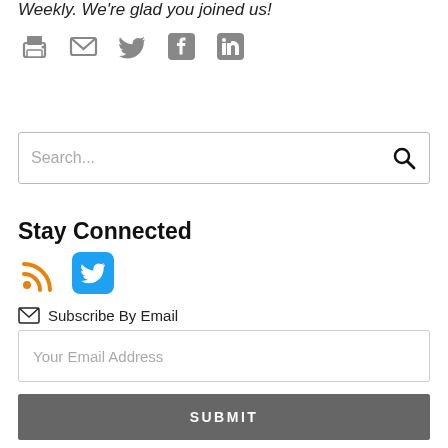Weekly. We're glad you joined us!
[Figure (other): Row of share icons: printer, email, Twitter, Facebook, LinkedIn in gray]
[Figure (other): Search bar with placeholder text 'Search...' and a magnifying glass icon]
Stay Connected
[Figure (other): RSS feed icon (orange) and Twitter bird icon (blue rounded square)]
Subscribe By Email
[Figure (other): Email input field with placeholder 'Your Email Address']
[Figure (other): Submit button with text SUBMIT on dark gray background]